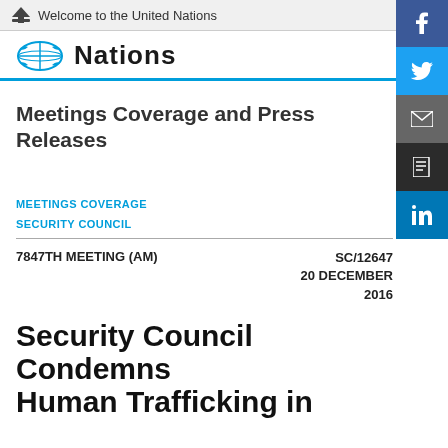Welcome to the United Nations
[Figure (logo): United Nations logo with olive branches and 'Nations' text in teal/black]
Meetings Coverage and Press Releases
MEETINGS COVERAGE
SECURITY COUNCIL
7847TH MEETING (AM)   SC/12647   20 DECEMBER 2016
Security Council Condemns Human Trafficking in